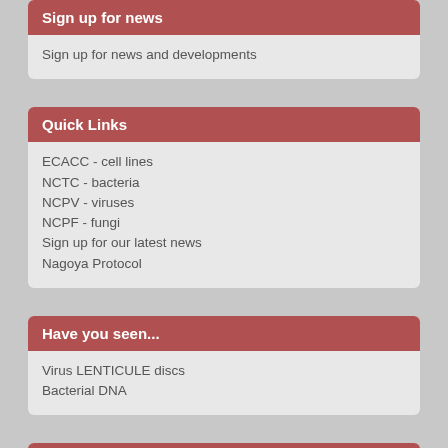Sign up for news
Sign up for news and developments
Quick Links
ECACC - cell lines
NCTC - bacteria
NCPV - viruses
NCPF - fungi
Sign up for our latest news
Nagoya Protocol
Have you seen...
Virus LENTICULE discs
Bacterial DNA
Induced Pluripotent Stem Cells